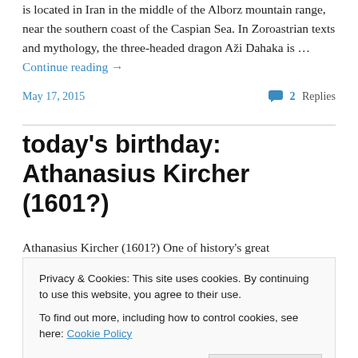is located in Iran in the middle of the Alborz mountain range, near the southern coast of the Caspian Sea. In Zoroastrian texts and mythology, the three-headed dragon Aži Dahaka is … Continue reading →
May 17, 2015   💬 2 Replies
today's birthday: Athanasius Kircher (1601?)
Athanasius Kircher (1601?) One of history's great
Privacy & Cookies: This site uses cookies. By continuing to use this website, you agree to their use.
To find out more, including how to control cookies, see here: Cookie Policy
decipher one of the most ancient … Continue reading →